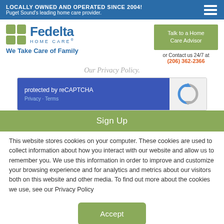LOCALLY OWNED AND OPERATED SINCE 2004! Puget Sound's leading home care provider.
[Figure (logo): Fedelta Home Care logo with green grid icon, blue text 'Fedelta HOME CARE' and tagline 'We Take Care of Family']
Talk to a Home Care Advisor
or Contact us 24/7 at (206) 362-2366
Our Privacy Policy.
[Figure (other): reCAPTCHA widget with blue left panel showing 'protected by reCAPTCHA', Privacy and Terms links, and reCAPTCHA logo on right]
Sign Up
This website stores cookies on your computer. These cookies are used to collect information about how you interact with our website and allow us to remember you. We use this information in order to improve and customize your browsing experience and for analytics and metrics about our visitors both on this website and other media. To find out more about the cookies we use, see our Privacy Policy
Accept